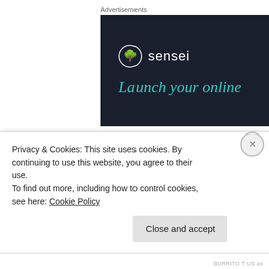Advertisements
[Figure (illustration): Dark navy advertisement banner for 'sensei' with a bonsai tree logo and teal text reading 'Launch your online']
Casino games on October 1, 2014 at 8:47 am
This is really interesting, You're a very skilled blogger.
Privacy & Cookies: This site uses cookies. By continuing to use this website, you agree to their use.
To find out more, including how to control cookies, see here: Cookie Policy
Close and accept